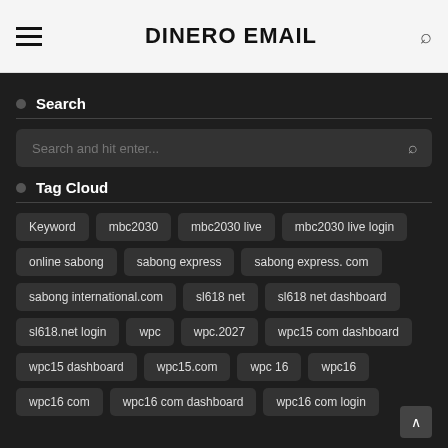DINERO EMAIL
Search
Search and hit enter...
Tag Cloud
Keyword
mbc2030
mbc2030 live
mbc2030 live login
online sabong
sabong express
sabong express. com
sabong international.com
sl618 net
sl618 net dashboard
sl618.net login
wpc
wpc.2027
wpc15 com dashboard
wpc15 dashboard
wpc15.com
wpc 16
wpc16
wpc16 com
wpc16 com dashboard
wpc16 com login